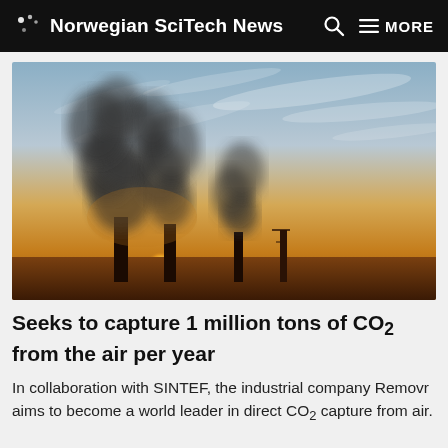Norwegian SciTech News   MORE
[Figure (photo): Industrial smokestacks silhouetted against a dramatic orange and golden sunset sky with dark smoke billowing upward]
Seeks to capture 1 million tons of CO2 from the air per year
In collaboration with SINTEF, the industrial company Removr aims to become a world leader in direct CO2 capture from air.